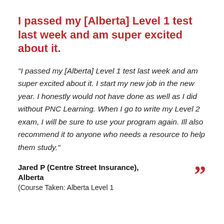I passed my [Alberta] Level 1 test last week and am super excited about it.
"I passed my [Alberta] Level 1 test last week and am super excited about it. I start my new job in the new year. I honestly would not have done as well as I did without PNC Learning. When I go to write my Level 2 exam, I will be sure to use your program again. Ill also recommend it to anyone who needs a resource to help them study."
Jared P (Centre Street Insurance), Alberta
(Course Taken: Alberta Level 1 Course)